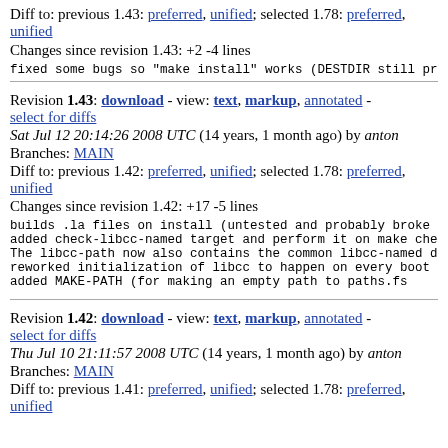Diff to: previous 1.43: preferred, unified; selected 1.78: preferred, unified
Changes since revision 1.43: +2 -4 lines
fixed some bugs so "make install" works (DESTDIR still pr
Revision 1.43: download - view: text, markup, annotated - select for diffs
Sat Jul 12 20:14:26 2008 UTC (14 years, 1 month ago) by anton
Branches: MAIN
Diff to: previous 1.42: preferred, unified; selected 1.78: preferred, unified
Changes since revision 1.42: +17 -5 lines
builds .la files on install (untested and probably broke
added check-libcc-named target and perform it on make che
The libcc-path now also contains the common libcc-named d
reworked initialization of libcc to happen on every boot
added MAKE-PATH (for making an empty path to paths.fs
Revision 1.42: download - view: text, markup, annotated - select for diffs
Thu Jul 10 21:11:57 2008 UTC (14 years, 1 month ago) by anton
Branches: MAIN
Diff to: previous 1.41: preferred, unified; selected 1.78: preferred, unified